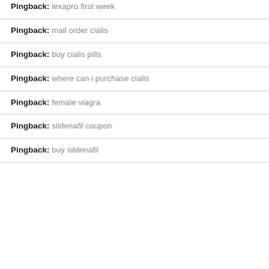Pingback: lexapro first week
Pingback: mail order cialis
Pingback: buy cialis pills
Pingback: where can i purchase cialis
Pingback: female viagra
Pingback: sildenafil coupon
Pingback: buy sildenafil